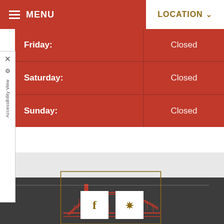MENU  LOCATION
| Friday: | Closed |
| Saturday: | Closed |
| Sunday: | Closed |
[Figure (illustration): Golden Gate Bridge line illustration in red/orange on dark background]
[Figure (logo): Facebook icon (f) in gold on white square]
[Figure (logo): Yelp icon in gold on white square]